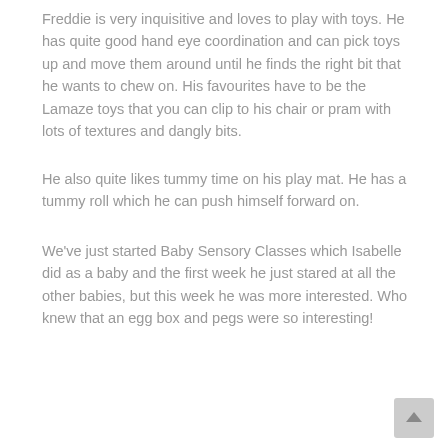Freddie is very inquisitive and loves to play with toys. He has quite good hand eye coordination and can pick toys up and move them around until he finds the right bit that he wants to chew on. His favourites have to be the Lamaze toys that you can clip to his chair or pram with lots of textures and dangly bits.
He also quite likes tummy time on his play mat. He has a tummy roll which he can push himself forward on.
We've just started Baby Sensory Classes which Isabelle did as a baby and the first week he just stared at all the other babies, but this week he was more interested. Who knew that an egg box and pegs were so interesting!